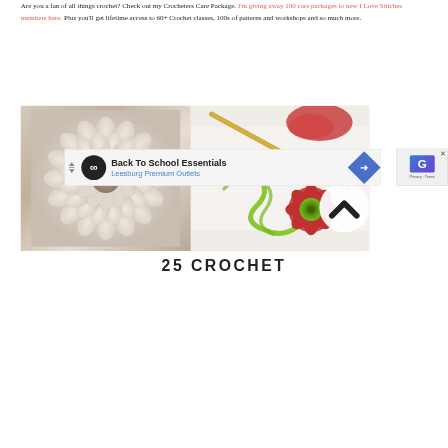Are you a fan of all things crochet? Check out my Crocheters Care Package. I'm giving away 100 care packages to new I Love Stitches members here. Plus you'll get lifetime access to 60+ Crochet classes, 100s of patterns and workshops and so much more.
[Figure (photo): Two photos side by side: left shows a large white crocheted dahlia flower; right shows crochet supplies including a gold hook, red yarn, and a small red and green crocheted flower on white background. A circular arrow/chevron up icon overlays the right image.]
25 CROCHET
[Figure (infographic): Advertisement banner: Back To School Essentials - Leesburg Premium Outlets, with infinity logo and navigation arrow. With Privacy+Terms overlay including Google logo and close button.]